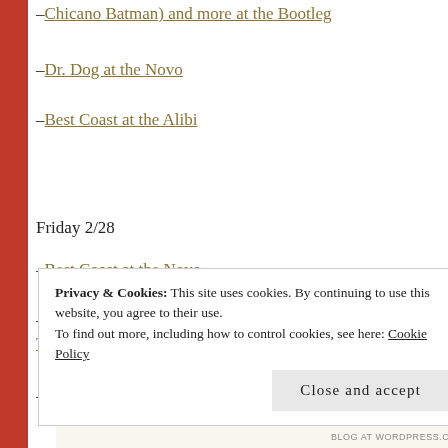Chicano Batman) and more at the Bootleg
Dr. Dog at the Novo
Best Coast at the Alibi
Friday 2/28
Best Coast at the Novo
Anamanaguchi, HANA, and Cowgirl Clue at the Fonda Theatre
Run River North at Echoplex
Privacy & Cookies: This site uses cookies. By continuing to use this website, you agree to their use. To find out more, including how to control cookies, see here: Cookie Policy
Close and accept